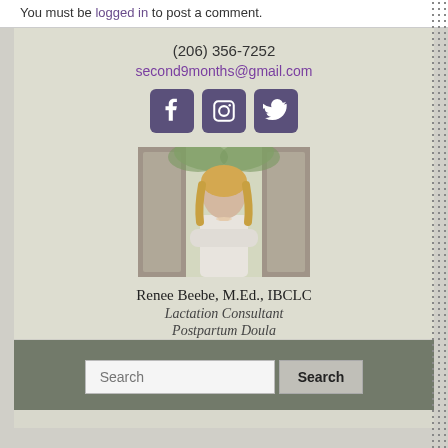You must be logged in to post a comment.
(206) 356-7252
second9months@gmail.com
[Figure (photo): Profile photo of Renee Beebe, a woman with blonde hair wearing a white blazer, arms crossed, standing in front of stone archway with greenery]
Renee Beebe, M.Ed., IBCLC
Lactation Consultant
Postpartum Doula